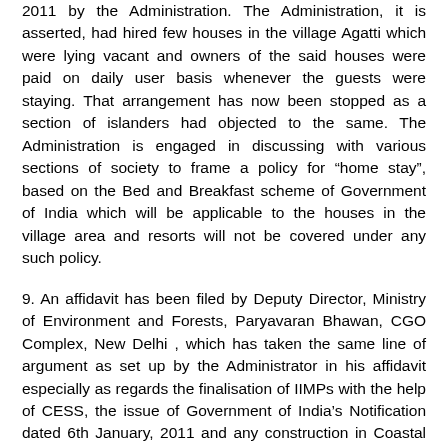2011 by the Administration. The Administration, it is asserted, had hired few houses in the village Agatti which were lying vacant and owners of the said houses were paid on daily user basis whenever the guests were staying. That arrangement has now been stopped as a section of islanders had objected to the same. The Administration is engaged in discussing with various sections of society to frame a policy for “home stay”, based on the Bed and Breakfast scheme of Government of India which will be applicable to the houses in the village area and resorts will not be covered under any such policy.
9. An affidavit has been filed by Deputy Director, Ministry of Environment and Forests, Paryavaran Bhawan, CGO Complex, New Delhi , which has taken the same line of argument as set up by the Administrator in his affidavit especially as regards the finalisation of IIMPs with the help of CESS, the issue of Government of India’s Notification dated 6th January, 2011 and any construction in Coastal Regulation Zone between 50 meters and 500 meters from the High Tide Line being in violation of the CRZ Notification hence liable to be proceeded against by the Lakshadweep